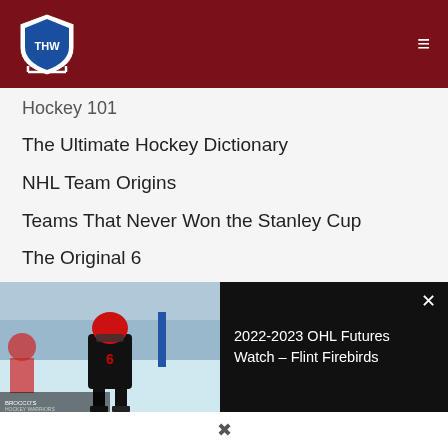THW - The Hockey Writers
Hockey 101
The Ultimate Hockey Dictionary
NHL Team Origins
Teams That Never Won the Stanley Cup
The Original 6
Jerseys from Defunct NHL Clubs
The Gordie Howe Hat Trick
Our Wayne Gretzky Quiz
[Figure (photo): Hockey player wearing number 6 black jersey on ice rink]
2022-2023 OHL Futures Watch – Flint Firebirds